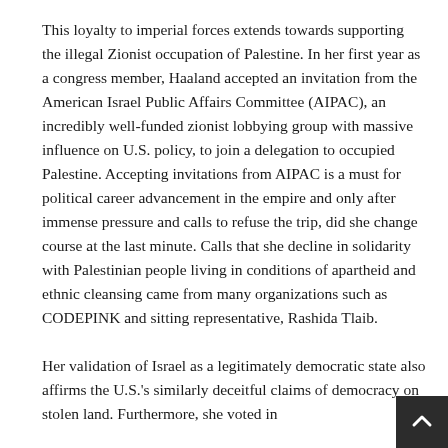This loyalty to imperial forces extends towards supporting the illegal Zionist occupation of Palestine. In her first year as a congress member, Haaland accepted an invitation from the American Israel Public Affairs Committee (AIPAC), an incredibly well-funded zionist lobbying group with massive influence on U.S. policy, to join a delegation to occupied Palestine. Accepting invitations from AIPAC is a must for political career advancement in the empire and only after immense pressure and calls to refuse the trip, did she change course at the last minute. Calls that she decline in solidarity with Palestinian people living in conditions of apartheid and ethnic cleansing came from many organizations such as CODEPINK and sitting representative, Rashida Tlaib.
Her validation of Israel as a legitimately democratic state also affirms the U.S.'s similarly deceitful claims of democracy on stolen land. Furthermore, she voted in